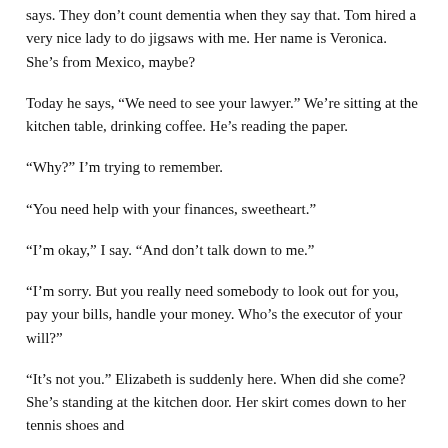says. They don’t count dementia when they say that. Tom hired a very nice lady to do jigsaws with me. Her name is Veronica. She’s from Mexico, maybe?
Today he says, “We need to see your lawyer.” We’re sitting at the kitchen table, drinking coffee. He’s reading the paper.
“Why?” I’m trying to remember.
“You need help with your finances, sweetheart.”
“I’m okay,” I say. “And don’t talk down to me.”
“I’m sorry. But you really need somebody to look out for you, pay your bills, handle your money. Who’s the executor of your will?”
“It’s not you.” Elizabeth is suddenly here. When did she come? She’s standing at the kitchen door. Her skirt comes down to her tennis shoes and